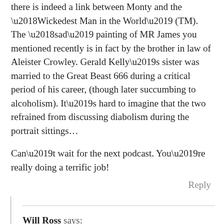there is indeed a link between Monty and the ‘Wickedest Man in the World’ (TM). The ‘sad’ painting of MR James you mentioned recently is in fact by the brother in law of Aleister Crowley. Gerald Kelly’s sister was married to the Great Beast 666 during a critical period of his career, (though later succumbing to alcoholism). It’s hard to imagine that the two refrained from discussing diabolism during the portrait sittings…
Can’t wait for the next podcast. You’re really doing a terrific job!
Reply
Will Ross says:
SEPTEMBER 12, 2012 AT 2:38 PM